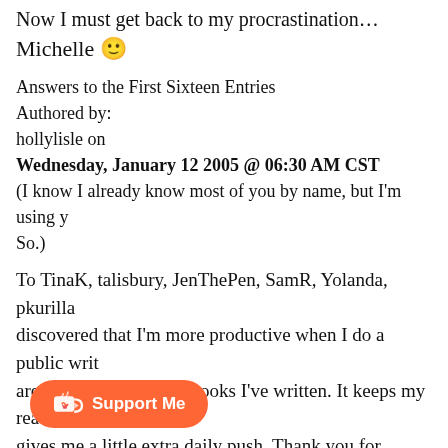Now I must get back to my procrastination…
Michelle 🙂
Answers to the First Sixteen Entries
Authored by:
hollylisle on
Wednesday, January 12 2005 @ 06:30 AM CST
(I know I already know most of you by name, but I'm using y… So.)
To TinaK, talisbury, JenThePen, SamR, Yolanda, pkurilla… discovered that I'm more productive when I do a public writ… are waiting to read the books I've written. It keeps my read… gives me a little extra daily push. Thank you for BEING ou… for whom.
To The Anonymous CARP Questioner — I didn't do anythi… thi… As for how I get my CARP reade… se… de it as a Server-Side Include. (If y… SSL You have to have access to the inner workings of your si…
[Figure (other): Ko-fi Support Me button with orange background, coffee cup icon and heart, text 'Support Me']